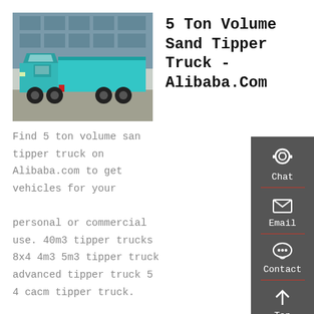[Figure (photo): A teal/turquoise dump tipper truck parked in front of a building with glass facade.]
5 Ton Volume Sand Tipper Truck - Alibaba.Com
Find 5 ton volume sand tipper truck on Alibaba.com to get vehicles for your personal or commercial use. 40m3 tipper trucks 8x4 4m3 5m3 tipper truck advanced tipper truck 5 4 cacm tipper truck. 30tons done deal tipper